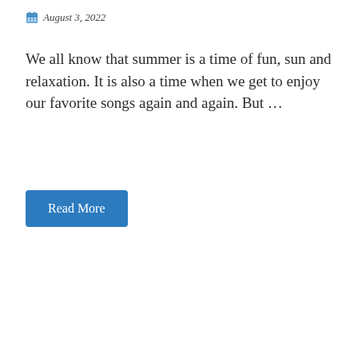August 3, 2022
We all know that summer is a time of fun, sun and relaxation. It is also a time when we get to enjoy our favorite songs again and again. But ...
Read More